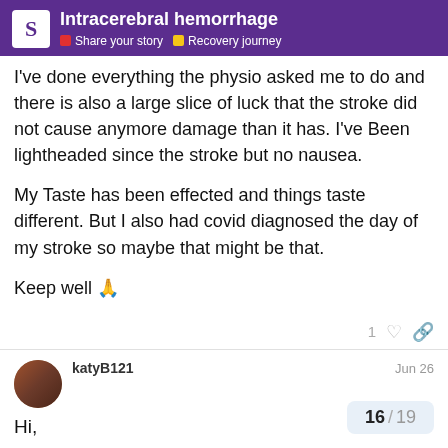Intracerebral hemorrhage | Share your story | Recovery journey
I've done everything the physio asked me to do and there is also a large slice of luck that the stroke did not cause anymore damage than it has. I've Been lightheaded since the stroke but no nausea.

My Taste has been effected and things taste different. But I also had covid diagnosed the day of my stroke so maybe that might be that.

Keep well 🙏
katyB121  Jun 26
Hi,